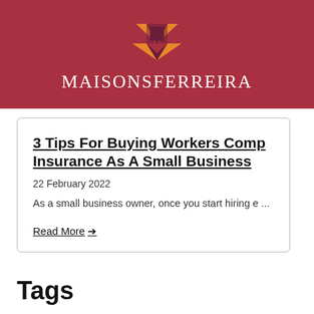[Figure (logo): MAISONSFERREIRA logo with geometric orange and dark red/purple emblem above the brand name text in white serif font on dark red background]
3 Tips For Buying Workers Comp Insurance As A Small Business
22 February 2022
As a small business owner, once you start hiring e ...
Read More →
Tags